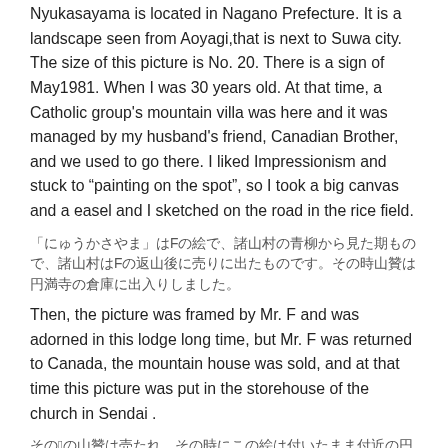Nyukasayama is located in Nagano Prefecture. It is a landscape seen from Aoyagi,that is next to Suwa city. The size of this picture is No. 20. There is a sign of May1981. When I was 30 years old. At that time, a Catholic group's mountain villa was here and it was managed by my husband's friend, Canadian Brother, and we used to go there. I liked Impressionism and stuck to “painting on the spot”, so I took a big canvas and a easel and I sketched on the road in the rice field.
「にゅうかさやま」はFの絵で、諸山村の青柳から見た期もので、諸山村はFの返山後に売りに出たものです。その時山贊は円満寺の倉庫に出入りしました。
Then, the picture was framed by Mr. F and was adorned in this lodge long time, but Mr. F was returned to Canada, the mountain house was sold, and at that time this picture was put in the storehouse of the church in Sendai .
その後Fの山贊は売たれ、その時にこの絵は付いたまま付近の円満寺の倉庫に入れられました。